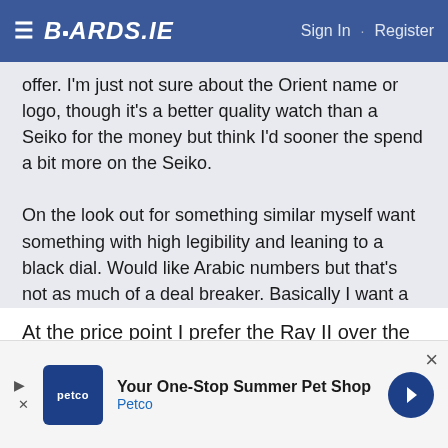BOARDS.IE  Sign In · Register
offer. I'm just not sure about the Orient name or logo, though it's a better quality watch than a Seiko for the money but think I'd sooner the spend a bit more on the Seiko.

On the look out for something similar myself want something with high legibility and leaning to a black dial. Would like Arabic numbers but that's not as much of a deal breaker. Basically I want a Seiko Spork which is discontinued or a Sinn 857 which is slightly over budget! €200 is about the limit.
At the price point I prefer the Ray II over the Seiko 5 but if the budget was higher Id go Seiko for something
[Figure (other): Petco advertisement banner: 'Your One-Stop Summer Pet Shop' with Petco logo and blue arrow icon. Close button (×) in top right.]